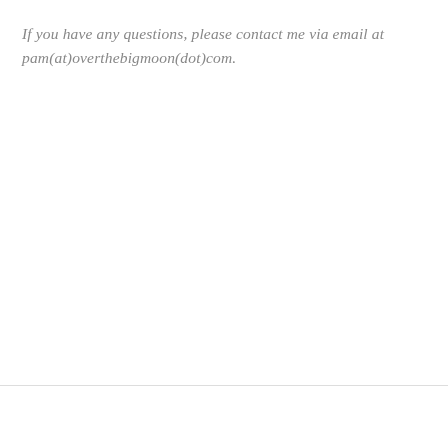If you have any questions, please contact me via email at pam(at)overthebigmoon(dot)com.